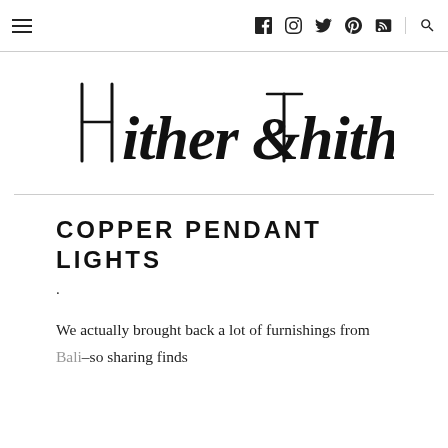≡  f  [instagram]  [twitter]  [pinterest]  [rss]  [search]
[Figure (logo): Hither & Thither handwritten script logo]
COPPER PENDANT LIGHTS
·
We actually brought back a lot of furnishings from Bali–so sharing finds